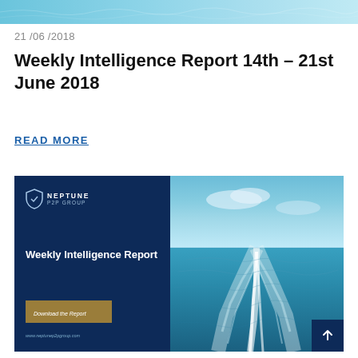[Figure (photo): Ocean/sea water surface photo cropped at top of page]
21 /06 /2018
Weekly Intelligence Report 14th – 21st June 2018
READ MORE
[Figure (photo): Neptune P2P Group Weekly Intelligence Report cover image showing dark blue panel on left with logo and report title and download button, and ocean wake photo on right side]